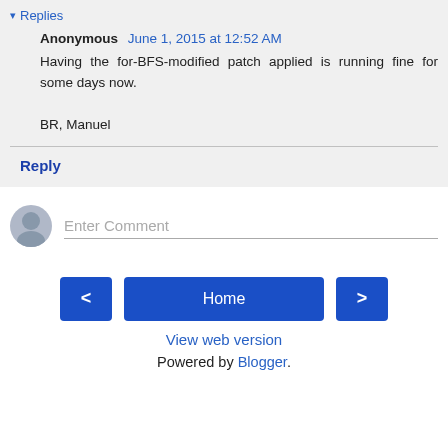▾ Replies
Anonymous June 1, 2015 at 12:52 AM
Having the for-BFS-modified patch applied is running fine for some days now.

BR, Manuel
Reply
Enter Comment
< Home > View web version Powered by Blogger.